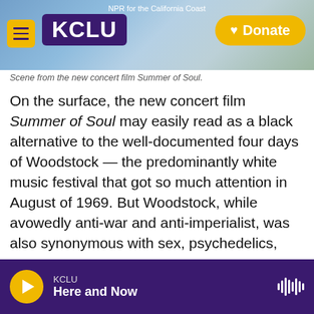NPR for the California Coast | KCLU | Donate
Scene from the new concert film Summer of Soul.
On the surface, the new concert film Summer of Soul may easily read as a black alternative to the well-documented four days of Woodstock — the predominantly white music festival that got so much attention in August of 1969. But Woodstock, while avowedly anti-war and anti-imperialist, was also synonymous with sex, psychedelics, and rock & roll.
Each weekend from June 29 to August 24 in 1969, thousands of Harlem residents flocked to what is now Marcus Garvey Park. The two-day festival...
KCLU — Here and Now